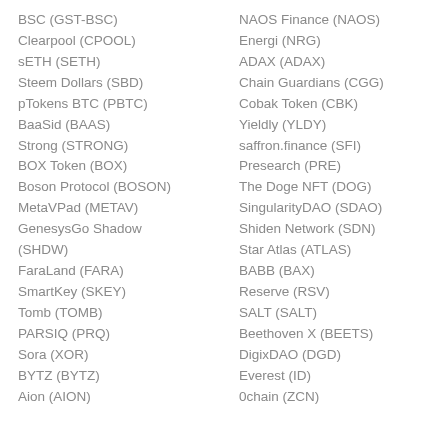BSC (GST-BSC)
Clearpool (CPOOL)
sETH (SETH)
Steem Dollars (SBD)
pTokens BTC (PBTC)
BaaSid (BAAS)
Strong (STRONG)
BOX Token (BOX)
Boson Protocol (BOSON)
MetaVPad (METAV)
GenesysGo Shadow (SHDW)
FaraLand (FARA)
SmartKey (SKEY)
Tomb (TOMB)
PARSIQ (PRQ)
Sora (XOR)
BYTZ (BYTZ)
Aion (AION)
NAOS Finance (NAOS)
Energi (NRG)
ADAX (ADAX)
Chain Guardians (CGG)
Cobak Token (CBK)
Yieldly (YLDY)
saffron.finance (SFI)
Presearch (PRE)
The Doge NFT (DOG)
SingularityDAO (SDAO)
Shiden Network (SDN)
Star Atlas (ATLAS)
BABB (BAX)
Reserve (RSV)
SALT (SALT)
Beethoven X (BEETS)
DigixDAO (DGD)
Everest (ID)
0chain (ZCN)